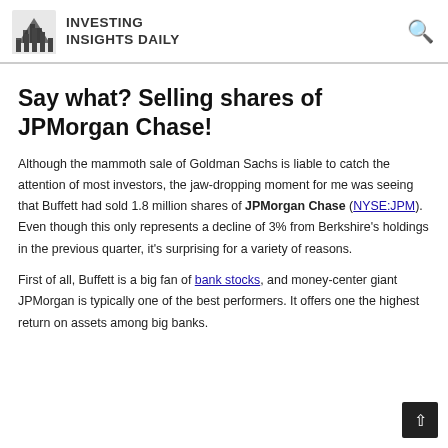INVESTING INSIGHTS DAILY
Say what? Selling shares of JPMorgan Chase!
Although the mammoth sale of Goldman Sachs is liable to catch the attention of most investors, the jaw-dropping moment for me was seeing that Buffett had sold 1.8 million shares of JPMorgan Chase (NYSE:JPM). Even though this only represents a decline of 3% from Berkshire's holdings in the previous quarter, it's surprising for a variety of reasons.
First of all, Buffett is a big fan of bank stocks, and money-center giant JPMorgan is typically one of the best performers. It offers one the highest return on assets among big banks.